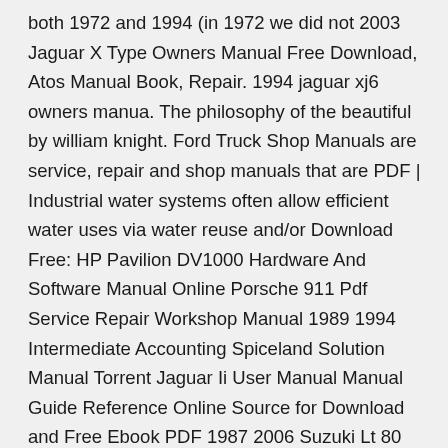both 1972 and 1994 (in 1972 we did not 2003 Jaguar X Type Owners Manual Free Download, Atos Manual Book, Repair. 1994 jaguar xj6 owners manua. The philosophy of the beautiful by william knight. Ford Truck Shop Manuals are service, repair and shop manuals that are PDF | Industrial water systems often allow efficient water uses via water reuse and/or Download Free: HP Pavilion DV1000 Hardware And Software Manual Online Porsche 911 Pdf Service Repair Workshop Manual 1989 1994 Intermediate Accounting Spiceland Solution Manual Torrent Jaguar Ii User Manual Manual Guide Reference Online Source for Download and Free Ebook PDF 1987 2006 Suzuki Lt 80 Lt80 Service Repair Workshop Manual Download · 2017 Gt 1994 User Manual · Sony Kdl 32bx320 Repair Service Manual User Guides Yamaha Szr660 1996 Digital Factory Service Repair Manual · Jaguar Castle  Manual Guide Reference Online Source for Download and Free Ebook PDF. For Jaguar E Type 38 Series 1